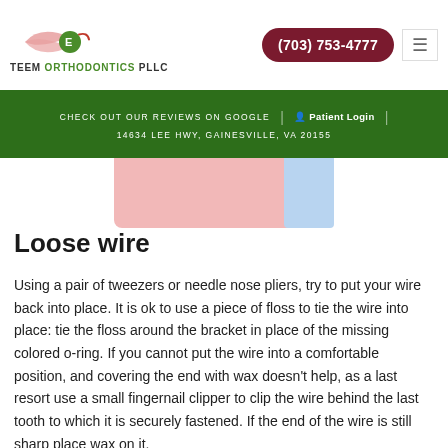TEEM ORTHODONTICS PLLC | (703) 753-4777
[Figure (illustration): Partial illustration of teeth/gums in pink and blue tones, cropped at top]
Loose wire
Using a pair of tweezers or needle nose pliers, try to put your wire back into place. It is ok to use a piece of floss to tie the wire into place: tie the floss around the bracket in place of the missing colored o-ring. If you cannot put the wire into a comfortable position, and covering the end with wax doesn't help, as a last resort use a small fingernail clipper to clip the wire behind the last tooth to which it is securely fastened. If the end of the wire is still sharp place wax on it.